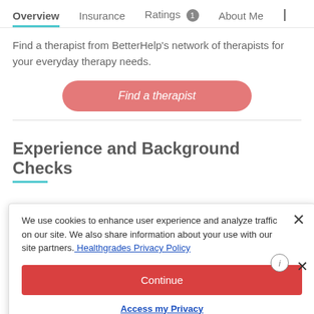Overview  Insurance  Ratings 1  About Me  |
Find a therapist from BetterHelp's network of therapists for your everyday therapy needs.
[Figure (other): Red rounded button labeled 'Find a therapist']
Experience and Background Checks
We use cookies to enhance user experience and analyze traffic on our site. We also share information about your use with our site partners. Healthgrades Privacy Policy
[Figure (other): Red button labeled 'Continue']
Access my Privacy Preferences
kground
procedure